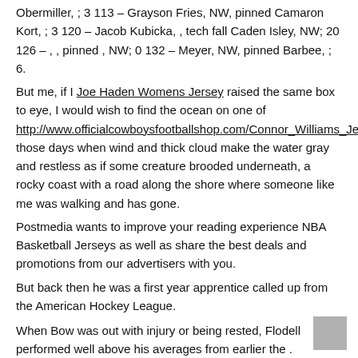Obermiller, ; 3 113 – Grayson Fries, NW, pinned Camaron Kort, ; 3 120 – Jacob Kubicka, , tech fall Caden Isley, NW; 20 126 – , , pinned , NW; 0 132 – Meyer, NW, pinned Barbee, ; 6.
But me, if I Joe Haden Womens Jersey raised the same box to eye, I would wish to find the ocean on one of http://www.officialcowboysfootballshop.com/Connor_Williams_Jersey those days when wind and thick cloud make the water gray and restless as if some creature brooded underneath, a rocky coast with a road along the shore where someone like me was walking and has gone.
Postmedia wants to improve your reading experience NBA Basketball Jerseys as well as share the best deals and promotions from our advertisers with you.
But back then he was a first year apprentice called up from the American Hockey League.
When Bow was out with injury or being rested, Flodell performed well above his averages from earlier the .
That is all.